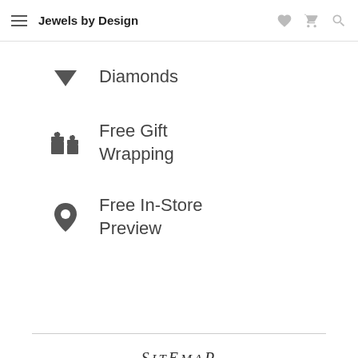Jewels by Design
Diamonds
Free Gift Wrapping
Free In-Store Preview
SITEMAP
Bridal – Diamonds – Designers –